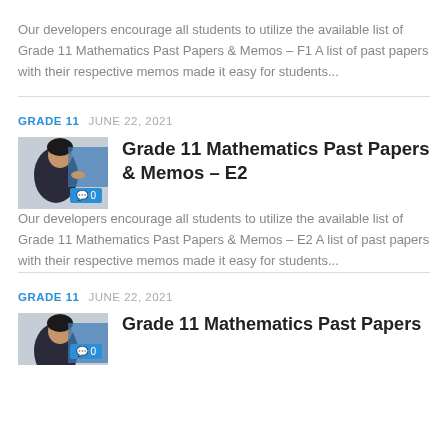Our developers encourage all students to utilize the available list of Grade 11 Mathematics Past Papers & Memos – F1 A list of past papers with their respective memos made it easy for students...
[Figure (photo): Student studying, with blue comment badge showing '0']
GRADE 11  JUNE 22, 2021
Grade 11 Mathematics Past Papers & Memos – E2
Our developers encourage all students to utilize the available list of Grade 11 Mathematics Past Papers & Memos – E2 A list of past papers with their respective memos made it easy for students...
[Figure (photo): Student studying, with blue comment badge showing '0']
GRADE 11  JUNE 22, 2021
Grade 11 Mathematics Past Papers